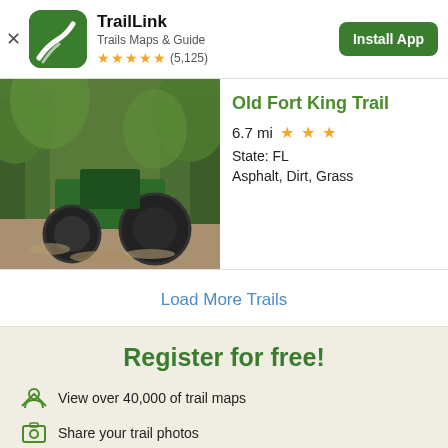[Figure (screenshot): TrailLink app banner with green icon, app name, subtitle, star rating, and Install App button]
[Figure (photo): Photo of an old green tractor/farm equipment abandoned in a lush forest setting for Old Fort King Trail]
Old Fort King Trail
6.7 mi ★★★
State: FL
Asphalt, Dirt, Grass
Load More Trails
Register for free!
View over 40,000 of trail maps
Share your trail photos
Learn about new trails near you